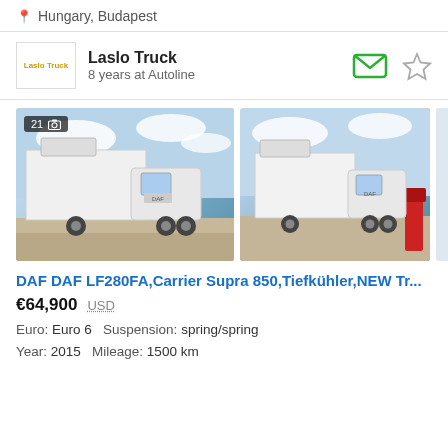Hungary, Budapest
Laslo Truck
8 years at Autoline
[Figure (photo): Two photos of a white DAF LF280FA refrigerated truck. Left photo shows front-left angle at a parking area, with a photo count badge showing '21' and a camera icon. Right photo shows front-right angle at a fuel station.]
DAF DAF LF280FA,Carrier Supra 850,Tiefkühler,NEW Tr...
€64,900  USD
Euro: Euro 6   Suspension: spring/spring
Year: 2015   Mileage: 1500 km